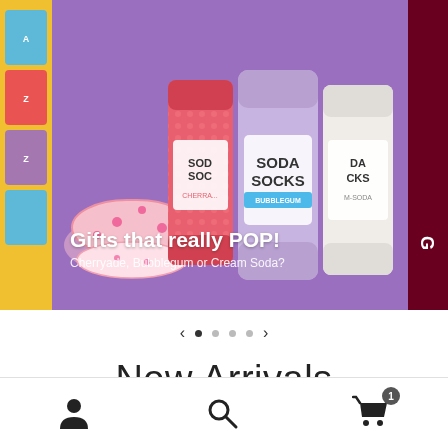[Figure (screenshot): E-commerce app screenshot showing a carousel banner with soda can socks product on purple background, navigation dots, New Arrivals section, and bottom navigation bar]
Gifts that really POP!
Cherryade, Bubblegum or Cream Soda?
New Arrivals
Fresh from our studio, get 'em